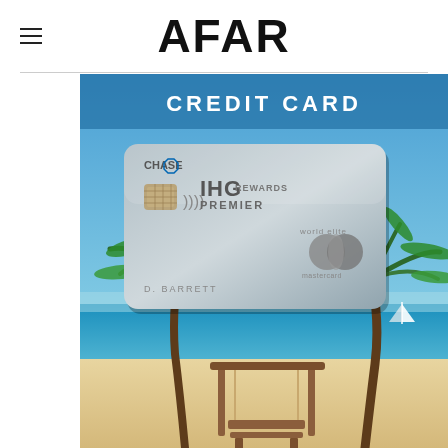AFAR
CREDIT CARD
[Figure (photo): IHG Rewards Premier credit card by Chase shown floating over a tropical beach scene with palm trees, turquoise water, a wooden swing structure on white sand, and a sailboat in the distance. The card shows CHASE logo, IHG REWARDS PREMIER text, a chip, contactless payment symbol, Mastercard logo, and cardholder name D. BARRETT.]
InterContinental Presid